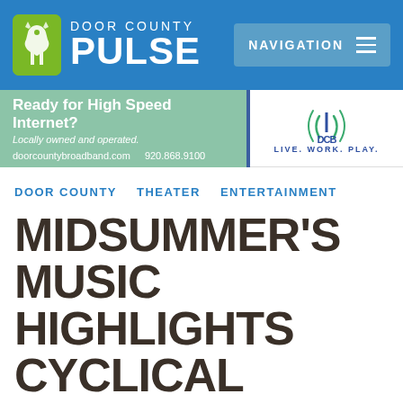Door County Pulse — Navigation
[Figure (infographic): Door County Pulse website header with green logo icon showing a howling wolf silhouette, white text DOOR COUNTY PULSE, and a blue NAVIGATION button with hamburger menu icon on blue background]
[Figure (infographic): Advertisement banner: left green section reads 'Ready for High Speed Internet? Locally owned and operated. doorcountybroadband.com 920.868.9100' with blue divider; right section shows DCB logo with LIVE. WORK. PLAY. tagline]
DOOR COUNTY   THEATER   ENTERTAINMENT
MIDSUMMER'S MUSIC HIGHLIGHTS CYCLICAL PIECES, WORK BY COMPOSER IN